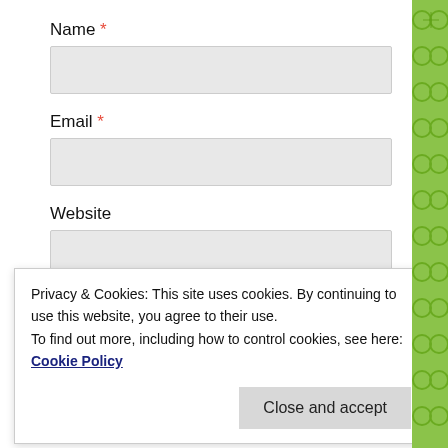Name *
Email *
Website
POST COMMENT
Notify me of new comments via email
Privacy & Cookies: This site uses cookies. By continuing to use this website, you agree to their use. To find out more, including how to control cookies, see here: Cookie Policy
Close and accept